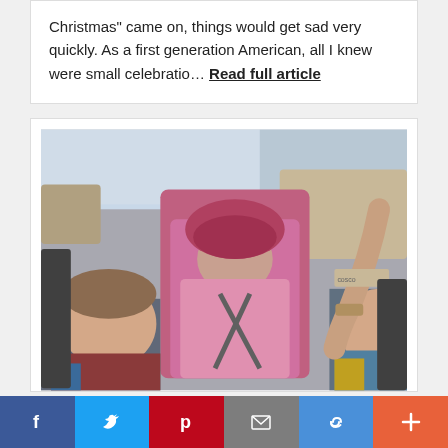Christmas" came on, things would get sad very quickly. As a first generation American, all I knew were small celebratio… Read full article
[Figure (photo): Photo of three children sleeping in car seats in the back seat of a car. A boy on the left, a girl in a pink coat in a car seat in the middle, and another child on the right. An adult arm reaches from the right side.]
Social share bar with Facebook, Twitter, Pinterest, Email, Link, and Plus buttons